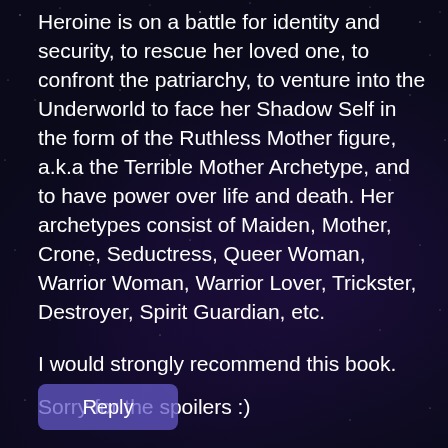Heroine is on a battle for identity and security, to rescue her loved one, to confront the patriarchy, to venture into the Underworld to face her Shadow Self in the form of the Ruthless Mother figure, a.k.a the Terrible Mother Archetype, and to have power over life and death. Her archetypes consist of Maiden, Mother, Crone, Seductress, Queer Woman, Warrior Woman, Warrior Lover, Trickster, Destroyer, Spirit Guardian, etc.
I would strongly recommend this book.
Sorry for the spoilers :)
[Figure (other): Reply button — a rounded rectangle button with text 'Reply']